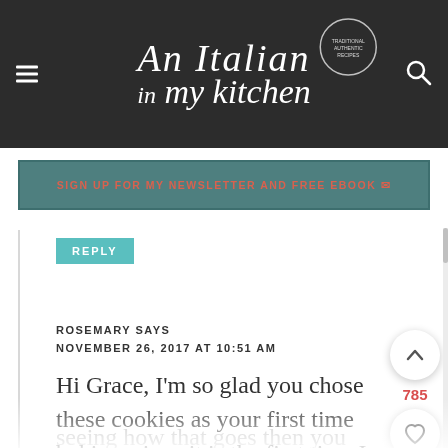An Italian in my Kitchen
SIGN UP FOR MY NEWSLETTER AND FREE EBOOK
REPLY
ROSEMARY SAYS
NOVEMBER 26, 2017 AT 10:51 AM
Hi Grace, I'm so glad you chose these cookies as your first time baking, since it is the first time I would do the recipe as is and seeing how that goes then you could change the flour to 1/4